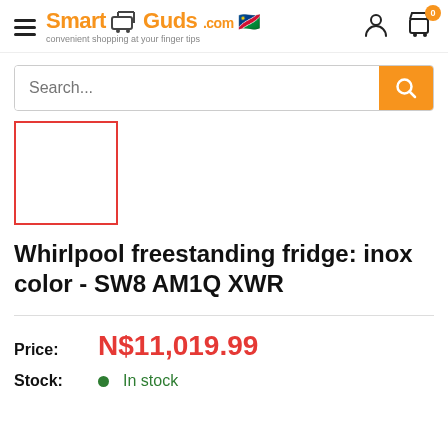[Figure (logo): SmartGuds.com logo with shopping cart icon and Namibia flag, tagline: convenient shopping at your finger tips]
[Figure (screenshot): Search bar with placeholder text 'Search...' and orange search button]
[Figure (photo): Product image placeholder box with red border]
Whirlpool freestanding fridge: inox color - SW8 AM1Q XWR
Price: N$11,019.99
Stock: In stock